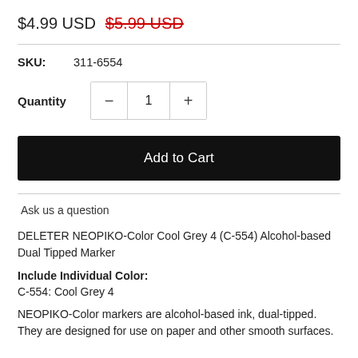$4.99 USD  $5.99 USD (strikethrough)
SKU: 311-6554
Quantity  − 1 +
Add to Cart
Ask us a question
DELETER NEOPIKO-Color Cool Grey 4 (C-554) Alcohol-based Dual Tipped Marker
Include Individual Color: C-554: Cool Grey 4
NEOPIKO-Color markers are alcohol-based ink, dual-tipped. They are designed for use on paper and other smooth surfaces.